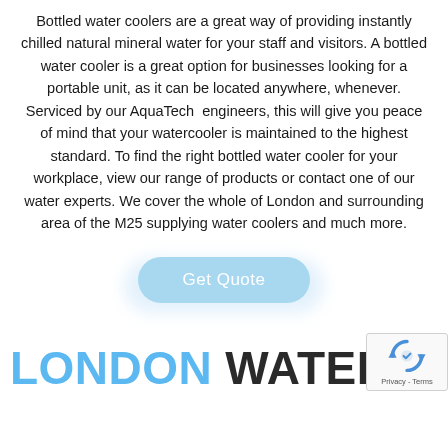Bottled water coolers are a great way of providing instantly chilled natural mineral water for your staff and visitors. A bottled water cooler is a great option for businesses looking for a portable unit, as it can be located anywhere, whenever. Serviced by our AquaTech  engineers, this will give you peace of mind that your watercooler is maintained to the highest standard. To find the right bottled water cooler for your workplace, view our range of products or contact one of our water experts. We cover the whole of London and surrounding area of the M25 supplying water coolers and much more.
[Figure (other): A rounded blue button labeled 'Get Quote' with a soft blue glow/shadow beneath it]
LONDON WATER COOLE
[Figure (other): reCAPTCHA badge in the bottom-right corner showing recycling-arrow icon and 'Privacy - Terms' text]